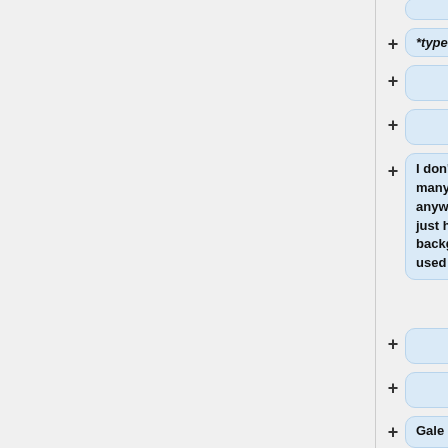*type of border
I don't want to specify the font family as many people choose their own fonts anyway these days. If you like we could just have black text against a faint pink background, something like code tags used to produce.
Gale </font>